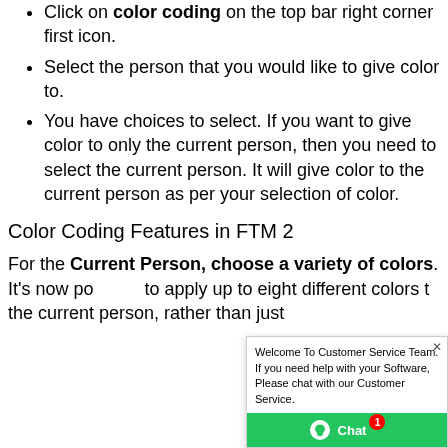Click on color coding on the top bar right corner first icon.
Select the person that you would like to give color to.
You have choices to select. If you want to give color to only the current person, then you need to select the current person. It will give color to the current person as per your selection of color.
Color Coding Features in FTM 2...
For the Current Person, choose a variety of colors. It's now possible to apply up to eight different colors to the current person, rather than just one...